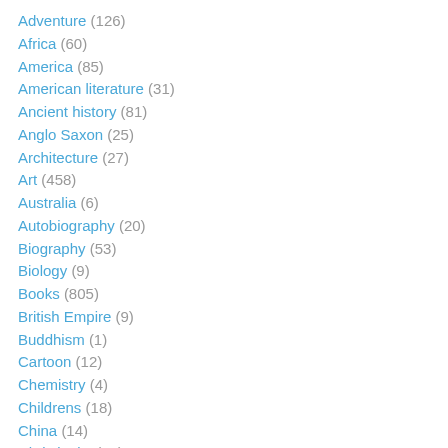Adventure (126)
Africa (60)
America (85)
American literature (31)
Ancient history (81)
Anglo Saxon (25)
Architecture (27)
Art (458)
Australia (6)
Autobiography (20)
Biography (53)
Biology (9)
Books (805)
British Empire (9)
Buddhism (1)
Cartoon (12)
Chemistry (4)
Childrens (18)
China (14)
Christianity (72)